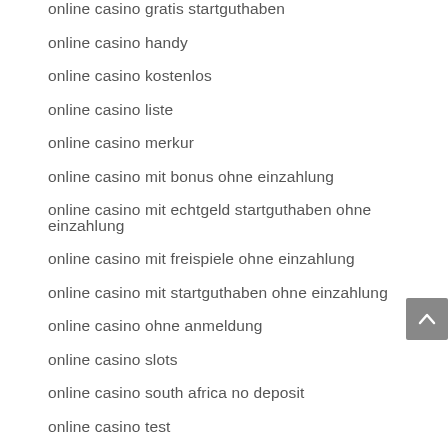online casino gratis startguthaben
online casino handy
online casino kostenlos
online casino liste
online casino merkur
online casino mit bonus ohne einzahlung
online casino mit echtgeld startguthaben ohne einzahlung
online casino mit freispiele ohne einzahlung
online casino mit startguthaben ohne einzahlung
online casino ohne anmeldung
online casino slots
online casino south africa no deposit
online casino test
online casino vergleich